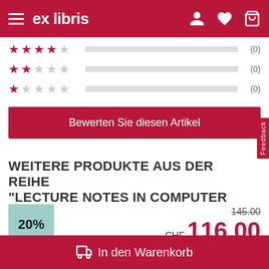ex libris
[Figure (infographic): Star rating rows: 2-star row with bar and (0), 1-star row with bar and (0)]
Bewerten Sie diesen Artikel
WEITERE PRODUKTE AUS DER REIHE "LECTURE NOTES IN COMPUTER
20%  145.00  CHF 116.00
In den Warenkorb